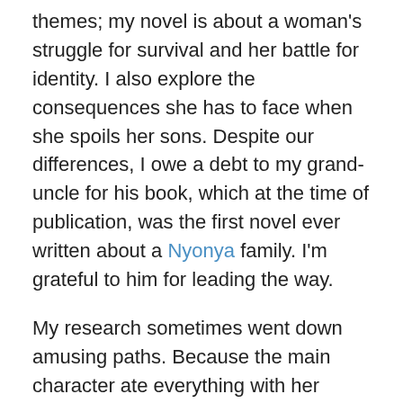themes; my novel is about a woman's struggle for survival and her battle for identity. I also explore the consequences she has to face when she spoils her sons. Despite our differences, I owe a debt to my grand-uncle for his book, which at the time of publication, was the first novel ever written about a Nyonya family. I'm grateful to him for leading the way.
My research sometimes went down amusing paths. Because the main character ate everything with her hands, including the Nyonya curries she was so fond of, it occurred to me one day that I should try to do the same. With much enthusiasm, I rolled a ball of rice dipped into gravy in one hand – it looked so easy when I watched an Indian friend do this. Yet, as soon as I tried putting the ball into my mouth, gravy dripped all over my elbows. I gave up after a second attempt, deciding that this wasn't